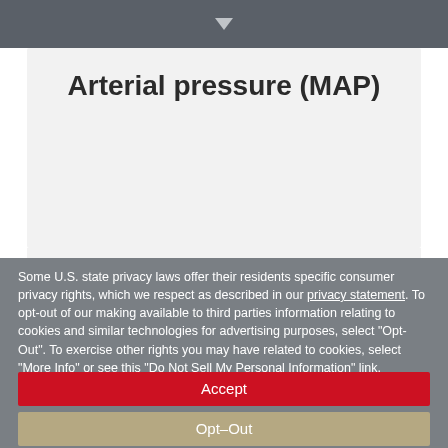▼
Arterial pressure (MAP)
Some U.S. state privacy laws offer their residents specific consumer privacy rights, which we respect as described in our privacy statement. To opt-out of our making available to third parties information relating to cookies and similar technologies for advertising purposes, select "Opt-Out". To exercise other rights you may have related to cookies, select "More Info" or see this "Do Not Sell My Personal Information" link.
Accept
Opt-Out
More Info